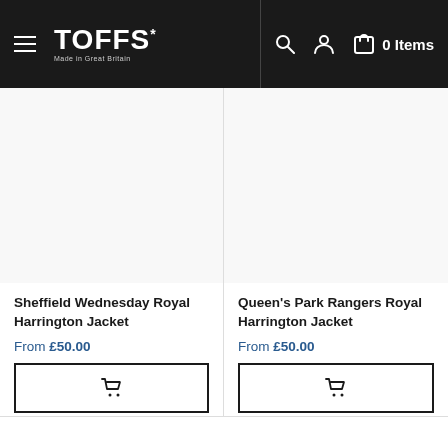TOFFS* Made in Great Britain — 0 Items
[Figure (screenshot): Empty product image placeholder for Sheffield Wednesday Royal Harrington Jacket]
Sheffield Wednesday Royal Harrington Jacket
From £50.00
[Figure (screenshot): Empty product image placeholder for Queen's Park Rangers Royal Harrington Jacket]
Queen's Park Rangers Royal Harrington Jacket
From £50.00